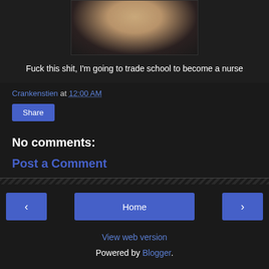[Figure (photo): Partial face of a person with blonde/light hair, dark background, lower portion of face visible]
Fuck this shit, I'm going to trade school to become a nurse
Crankenstien at 12:00 AM
Share
No comments:
Post a Comment
Home
View web version
Powered by Blogger.